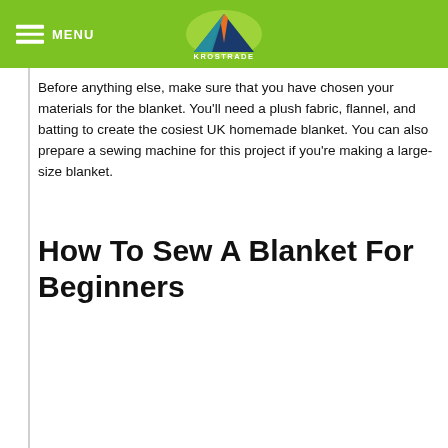MENU | KROSTRADE
Before anything else, make sure that you have chosen your materials for the blanket. You'll need a plush fabric, flannel, and batting to create the cosiest UK homemade blanket. You can also prepare a sewing machine for this project if you're making a large-size blanket.
How To Sew A Blanket For Beginners